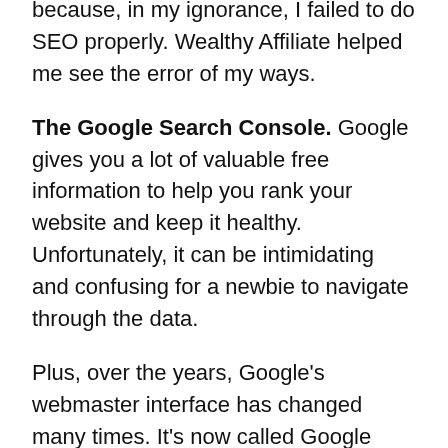because, in my ignorance, I failed to do SEO properly. Wealthy Affiliate helped me see the error of my ways.
The Google Search Console. Google gives you a lot of valuable free information to help you rank your website and keep it healthy. Unfortunately, it can be intimidating and confusing for a newbie to navigate through the data.
Plus, over the years, Google's webmaster interface has changed many times. It's now called Google Search Console.
The Wealthy Affiliate Weekly Live Event keeps you up to date with every Google change that may impact your business.